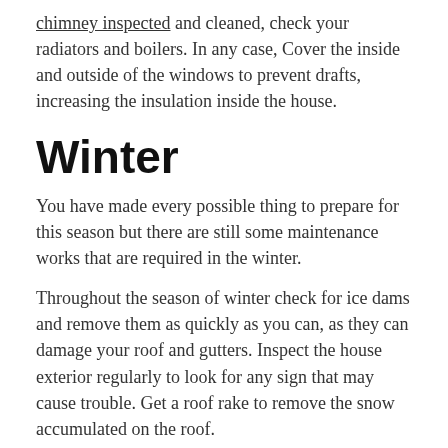chimney inspected and cleaned, check your radiators and boilers. In any case, Cover the inside and outside of the windows to prevent drafts, increasing the insulation inside the house.
Winter
You have made every possible thing to prepare for this season but there are still some maintenance works that are required in the winter.
Throughout the season of winter check for ice dams and remove them as quickly as you can, as they can damage your roof and gutters. Inspect the house exterior regularly to look for any sign that may cause trouble. Get a roof rake to remove the snow accumulated on the roof.